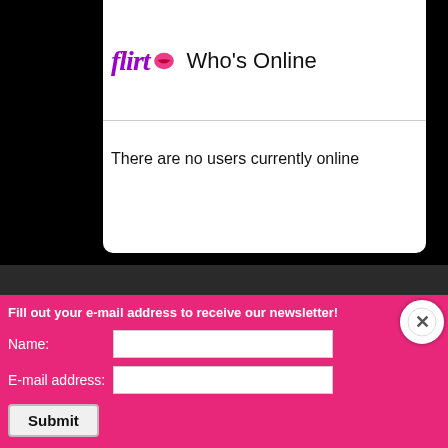[Figure (logo): Flirt app banner with purple background and 'Download Now!' text]
flirt Who’s Online
There are no users currently online
Fill out your e-mail address to receive our newsletter!
Name:
E-mail address:
Submit